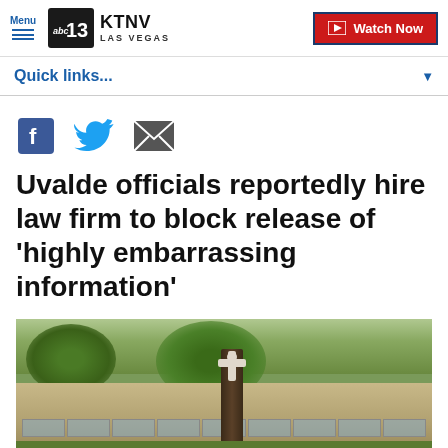Menu | KTNV LAS VEGAS | Watch Now
Quick links...
[Figure (other): Social share icons: Facebook, Twitter, Email]
Uvalde officials reportedly hire law firm to block release of 'highly embarrassing information'
[Figure (photo): Exterior of a school building with a large tree in the foreground, a white cross or angel figure attached to the tree trunk, green foliage, and school building with many windows visible in the background.]